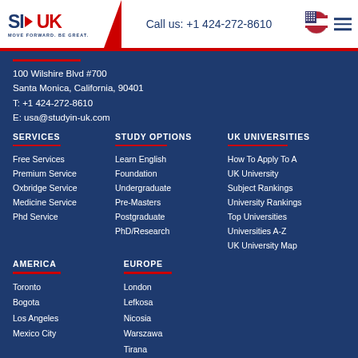SI-UK | MOVE FORWARD. BE GREAT. | Call us: +1 424-272-8610
100 Wilshire Blvd #700
Santa Monica, California, 90401
T: +1 424-272-8610
E: usa@studyin-uk.com
SERVICES
Free Services
Premium Service
Oxbridge Service
Medicine Service
Phd Service
STUDY OPTIONS
Learn English
Foundation
Undergraduate
Pre-Masters
Postgraduate
PhD/Research
UK UNIVERSITIES
How To Apply To A UK University
Subject Rankings
University Rankings
Top Universities
Universities A-Z
UK University Map
AMERICA
Toronto
Bogota
Los Angeles
Mexico City
EUROPE
London
Lefkosa
Nicosia
Warszawa
Tirana